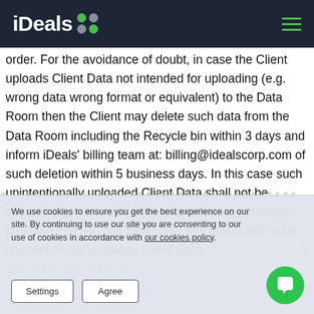iDeals
order. For the avoidance of doubt, in case the Client uploads Client Data not intended for uploading (e.g. wrong data wrong format or equivalent) to the Data Room then the Client may delete such data from the Data Room including the Recycle bin within 3 days and inform iDeals' billing team at: billing@idealscorp.com of such deletion within 5 business days. In this case such unintentionally uploaded Client Data shall not be counted against applicable limits for billing purposes, provided that no User performed any action with such unintentionally uploaded Client Data.
We use cookies to ensure you get the best experience on our site. By continuing to use our site you are consenting to our use of cookies in accordance with our cookies policy.